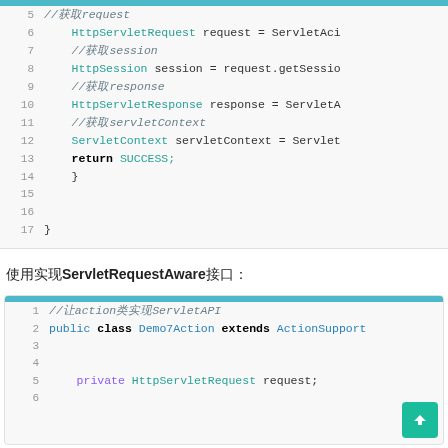[Figure (screenshot): Code snippet showing Java Struts2 action method body lines 5-17, with HttpServletRequest, HttpSession, HttpServletResponse, ServletContext variable declarations and return SUCCESS statement]
使用实现ServletRequestAware接口：
[Figure (screenshot): Code snippet lines 1-6 showing Demo7Action class extending ActionSupport with private HttpServletRequest field declaration]